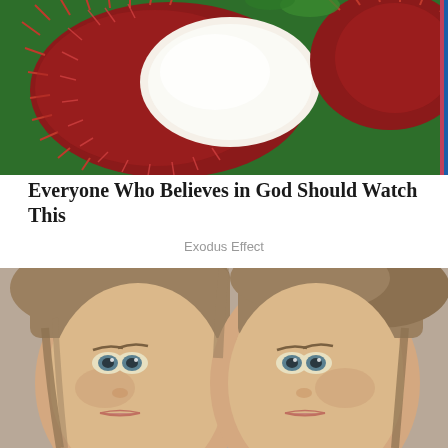[Figure (photo): Close-up photo of a rambutan fruit cut open, showing the white interior flesh and red spiky exterior, held in hand against a green background]
Everyone Who Believes in God Should Watch This
Exodus Effect
[Figure (photo): Portrait photo of two young girls with light brown hair and blue-green eyes, faces close together, looking at camera]